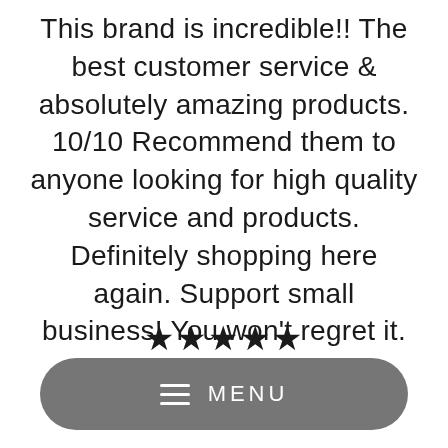This brand is incredible!! The best customer service & absolutely amazing products. 10/10 Recommend them to anyone looking for high quality service and products. Definitely shopping here again. Support small business! You won't regret it.
[Figure (other): Five black filled star rating icons displayed in a row]
[Figure (other): Dark grey rounded rectangle menu bar with hamburger icon and MENU text]